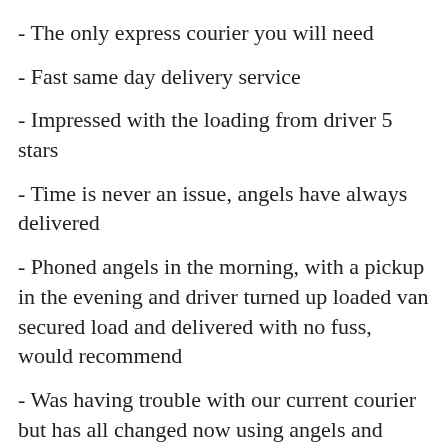- The only express courier you will need
- Fast same day delivery service
- Impressed with the loading from driver 5 stars
- Time is never an issue, angels have always delivered
- Phoned angels in the morning, with a pickup in the evening and driver turned up loaded van secured load and delivered with no fuss, would recommend
- Was having trouble with our current courier but has all changed now using angels and there new live signature system